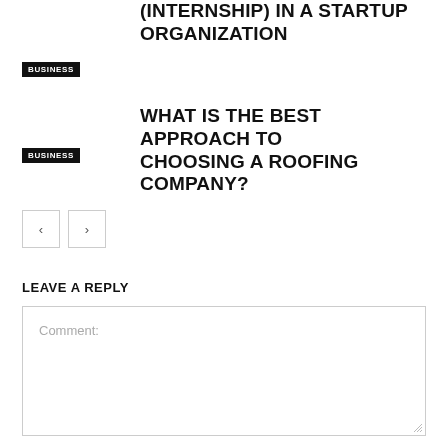(INTERNSHIP) IN A STARTUP ORGANIZATION
BUSINESS
WHAT IS THE BEST APPROACH TO CHOOSING A ROOFING COMPANY?
BUSINESS
LEAVE A REPLY
Comment: